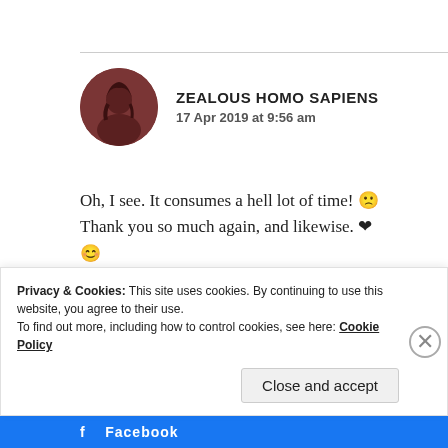ZEALOUS HOMO SAPIENS
17 Apr 2019 at 9:56 am
Oh, I see. It consumes a hell lot of time! 🙁 Thank you so much again, and likewise. ❤ 😊
Liked by 1 person
Privacy & Cookies: This site uses cookies. By continuing to use this website, you agree to their use.
To find out more, including how to control cookies, see here: Cookie Policy
Close and accept